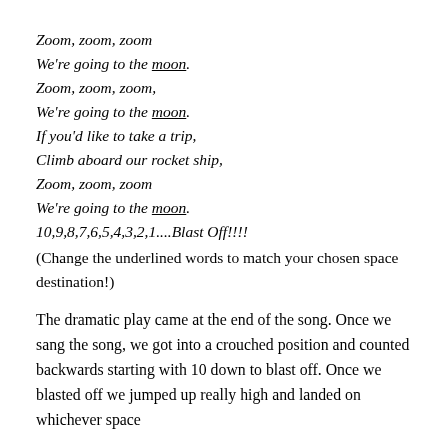Zoom, zoom, zoom
We're going to the moon.
Zoom, zoom, zoom,
We're going to the moon.
If you'd like to take a trip,
Climb aboard our rocket ship,
Zoom, zoom, zoom
We're going to the moon.
10,9,8,7,6,5,4,3,2,1....Blast Off!!!!
(Change the underlined words to match your chosen space destination!)
The dramatic play came at the end of the song. Once we sang the song, we got into a crouched position and counted backwards starting with 10 down to blast off. Once we blasted off we jumped up really high and landed on whichever space destination we had chosen to travel to.